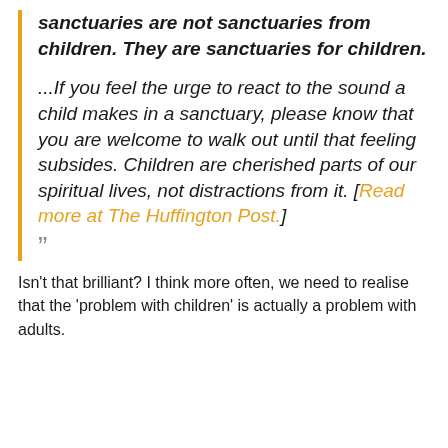sanctuaries are not sanctuaries from children. They are sanctuaries for children. ...If you feel the urge to react to the sound a child makes in a sanctuary, please know that you are welcome to walk out until that feeling subsides. Children are cherished parts of our spiritual lives, not distractions from it. [Read more at The Huffington Post.]
Isn't that brilliant? I think more often, we need to realise that the 'problem with children' is actually a problem with adults.